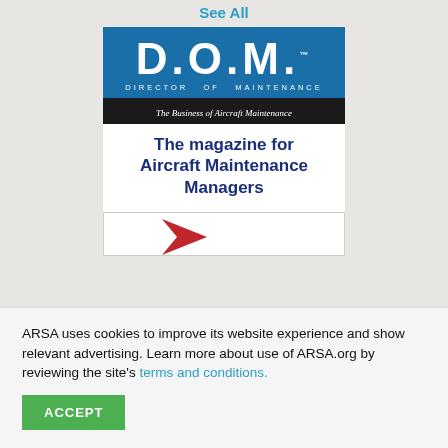See All
[Figure (logo): D.O.M. Director of Maintenance magazine logo with tagline 'The Business of Aircraft Maintenance' and promo text 'The magazine for Aircraft Maintenance Managers']
[Figure (logo): Partial second advertisement with a red arrow/chevron shape on white background]
ARSA uses cookies to improve its website experience and show relevant advertising. Learn more about use of ARSA.org by reviewing the site's terms and conditions.
ACCEPT